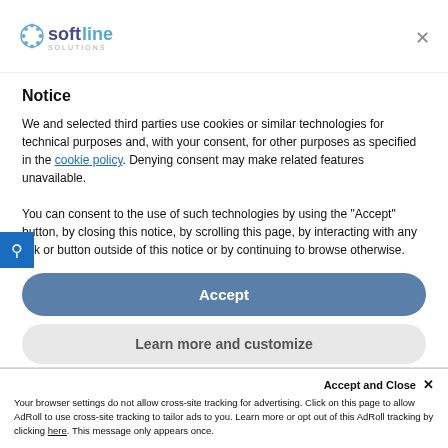[Figure (logo): Softline Solutions logo with circular dot icon and company name]
Notice
We and selected third parties use cookies or similar technologies for technical purposes and, with your consent, for other purposes as specified in the cookie policy. Denying consent may make related features unavailable.
You can consent to the use of such technologies by using the "Accept" button, by closing this notice, by scrolling this page, by interacting with any link or button outside of this notice or by continuing to browse otherwise.
Accept
Learn more and customize
Accept and Close ×
Your browser settings do not allow cross-site tracking for advertising. Click on this page to allow AdRoll to use cross-site tracking to tailor ads to you. Learn more or opt out of this AdRoll tracking by clicking here. This message only appears once.